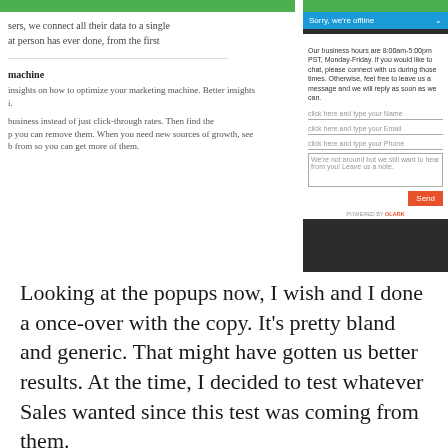[Figure (screenshot): Screenshot of a webpage with a green top bar and partial text on the left panel, and a chat widget on the right panel showing 'Sorry, we're offline' with a message form including Name, Email, Phone fields and a Send button.]
Looking at the popups now, I wish and I done a once-over with the copy. It’s pretty bland and generic. That might have gotten us better results. At the time, I decided to test whatever Sales wanted since this test was coming from them.
Setting up the A/B test was pretty simple. We used